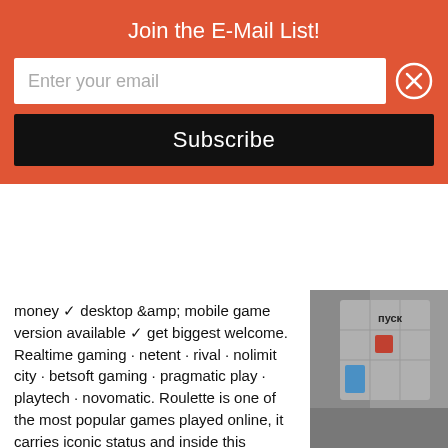Join the E-Mail List!
Enter your email
Subscribe
money ✓ desktop &amp; mobile game version available ✓ get biggest welcome. Realtime gaming · netent · rival · nolimit city · betsoft gaming · pragmatic play · playtech · novomatic. Roulette is one of the most popular games played online, it carries iconic status and inside this review, we present the game in its entire free. Roulette game online for free: live casino is exactly designed. Hk: the best online russian roulette games ✓ play over 12. 000 free online games ✓  for the whole family. Play online casino games for free at gametwist! sign up and get ✓ 30000 free twists ✓  15 book of ra free spins ✓  free daily bonus ❯ ❯  play for free now! PlayBridge european roulette game by play n
[Figure (photo): A photo of a casino or board game table with playing pieces, showing text 'пуск' (Russian for 'start'), blue and red game elements visible.]